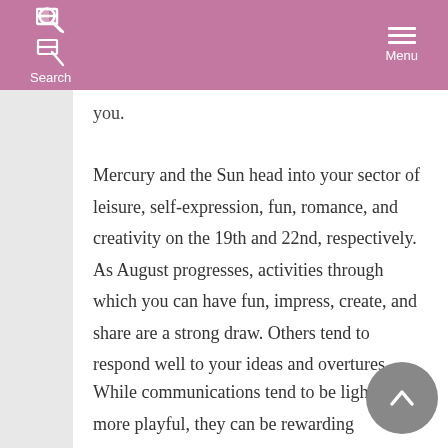Search  Menu
you.
Mercury and the Sun head into your sector of leisure, self-expression, fun, romance, and creativity on the 19th and 22nd, respectively. As August progresses, activities through which you can have fun, impress, create, and share are a strong draw. Others tend to respond well to your ideas and overtures.
While communications tend to be lighter or more playful, they can be rewarding